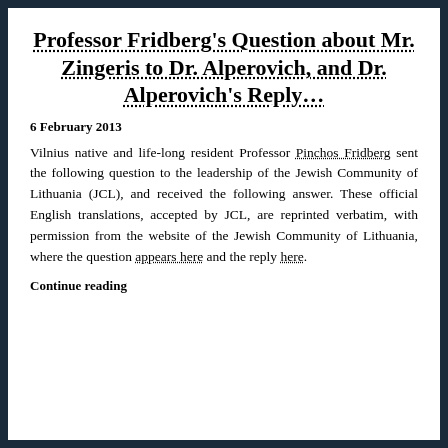Professor Fridberg's Question about Mr. Zingeris to Dr. Alperovich, and Dr. Alperovich's Reply…
6 February 2013
Vilnius native and life-long resident Professor Pinchos Fridberg sent the following question to the leadership of the Jewish Community of Lithuania (JCL), and received the following answer. These official English translations, accepted by JCL, are reprinted verbatim, with permission from the website of the Jewish Community of Lithuania, where the question appears here and the reply here.
Continue reading